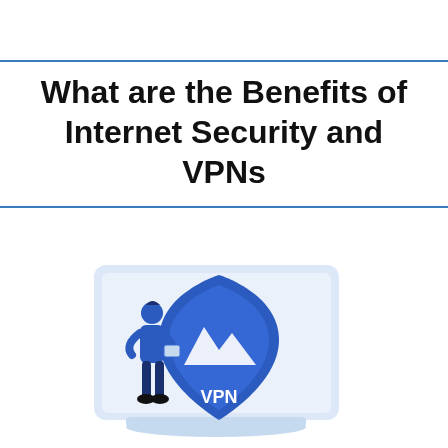What are the Benefits of Internet Security and VPNs
[Figure (illustration): Illustration of a person in a blue outfit standing next to a laptop displaying a large blue VPN shield logo with mountain imagery and the text 'VPN']